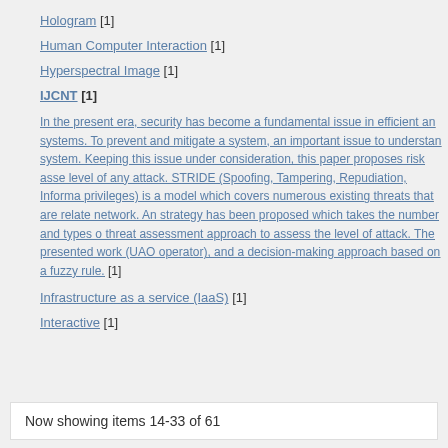Hologram [1]
Human Computer Interaction [1]
Hyperspectral Image [1]
IJCNT [1]
In the present era, security has become a fundamental issue in efficient and secure systems. To prevent and mitigate a system, an important issue to understand the system. Keeping this issue under consideration, this paper proposes risk assessment level of any attack. STRIDE (Spoofing, Tampering, Repudiation, Information disclosure, Denial of Service, Elevation of privileges) is a model which covers numerous existing threats that are related to the network. An strategy has been proposed which takes the number and types of threat assessment approach to assess the level of attack. The presented work (UAO operator), and a decision-making approach based on a fuzzy rule. [1]
Infrastructure as a service (IaaS) [1]
Interactive [1]
Now showing items 14-33 of 61